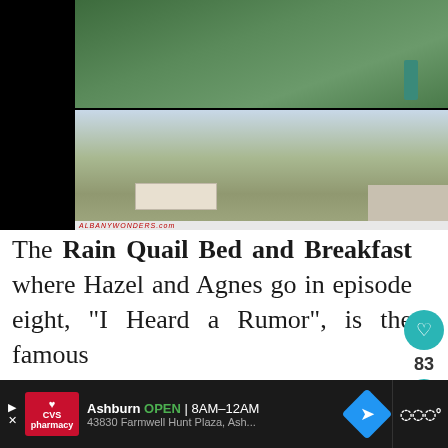[Figure (photo): Two stacked photos: top shows aerial/elevated view of a property with green lawn, red flowers, and a person standing; bottom shows a street-level view of a rural road with a white building and trees.]
The Rain Quail Bed and Breakfast where Hazel and Agnes go in episode eight, "I Heard a Rumor", is the famous Rosebud Motel from the series Schitt's Creek, at 308351 Hockley
[Figure (other): Advertisement bar at bottom: CVS Pharmacy ad showing Ashburn OPEN 8AM-12AM, 43830 Farmwell Hunt Plaza, Ash...]